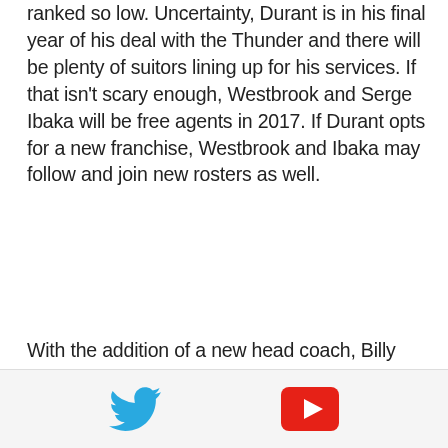ranked so low. Uncertainty, Durant is in his final year of his deal with the Thunder and there will be plenty of suitors lining up for his services. If that isn't scary enough, Westbrook and Serge Ibaka will be free agents in 2017. If Durant opts for a new franchise, Westbrook and Ibaka may follow and join new rosters as well.
With the addition of a new head coach, Billy Donovan, the Thunder need to make a big time impression on Durant this season as losing him would be a catastrophic blow for OKC that would set the franchise back for years. The uncertain futures of
[Figure (other): Social media icons bar with Twitter bird icon (blue) and YouTube play button icon (red) on a light gray background]